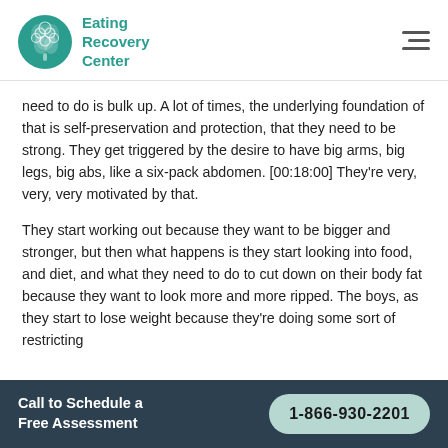Eating Recovery Center
need to do is bulk up. A lot of times, the underlying foundation of that is self-preservation and protection, that they need to be strong. They get triggered by the desire to have big arms, big legs, big abs, like a six-pack abdomen. [00:18:00] They're very, very, very motivated by that.
They start working out because they want to be bigger and stronger, but then what happens is they start looking into food, and diet, and what they need to do to cut down on their body fat because they want to look more and more ripped. The boys, as they start to lose weight because they're doing some sort of restricting
Call to Schedule a Free Assessment
1-866-930-2201